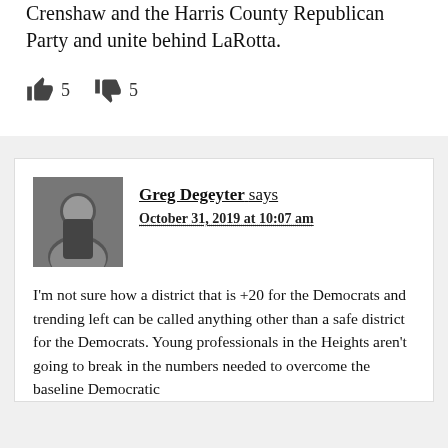Crenshaw and the Harris County Republican Party and unite behind LaRotta.
👍 5   👎 5
Greg Degeyter says October 31, 2019 at 10:07 am
I'm not sure how a district that is +20 for the Democrats and trending left can be called anything other than a safe district for the Democrats. Young professionals in the Heights aren't going to break in the numbers needed to overcome the baseline Democratic